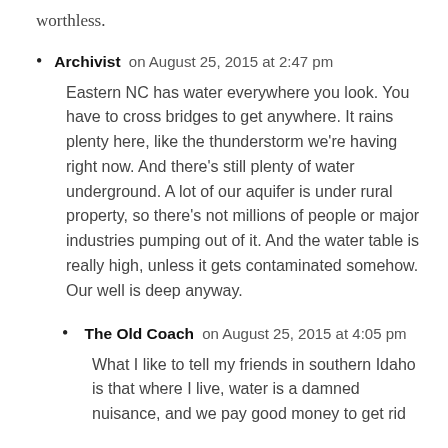worthless.
Archivist on August 25, 2015 at 2:47 pm
Eastern NC has water everywhere you look. You have to cross bridges to get anywhere. It rains plenty here, like the thunderstorm we're having right now. And there's still plenty of water underground. A lot of our aquifer is under rural property, so there's not millions of people or major industries pumping out of it. And the water table is really high, unless it gets contaminated somehow. Our well is deep anyway.
The Old Coach on August 25, 2015 at 4:05 pm
What I like to tell my friends in southern Idaho is that where I live, water is a damned nuisance, and we pay good money to get rid